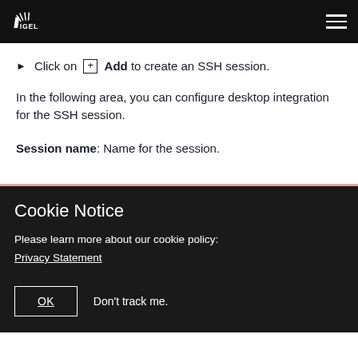IGEL
Click on [+] Add to create an SSH session.
In the following area, you can configure desktop integration for the SSH session.
Session name: Name for the session.
Cookie Notice
Please learn more about our cookie policy: Privacy Statement
OK   Don't track me.